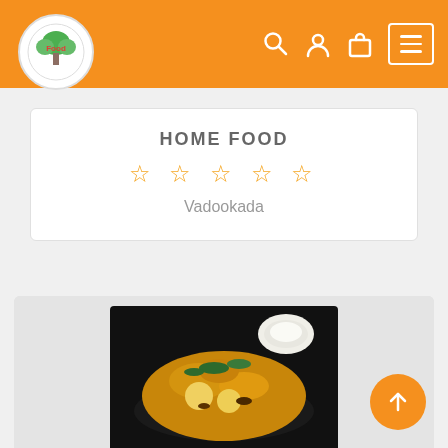HOME FOOD navigation header with logo and icons
HOME FOOD
☆☆☆☆☆
Vadookada
[Figure (photo): A bowl of biryani with eggs, garnished with mint leaves, served with raita on a dark background]